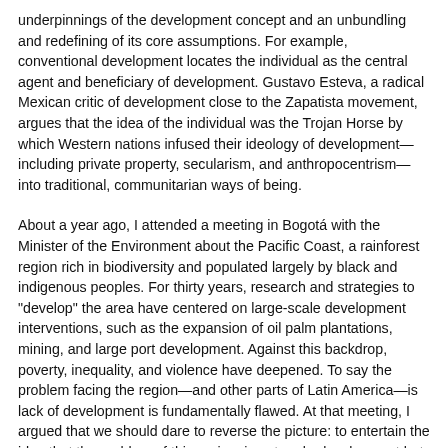underpinnings of the development concept and an unbundling and redefining of its core assumptions. For example, conventional development locates the individual as the central agent and beneficiary of development. Gustavo Esteva, a radical Mexican critic of development close to the Zapatista movement, argues that the idea of the individual was the Trojan Horse by which Western nations infused their ideology of development—including private property, secularism, and anthropocentrism—into traditional, communitarian ways of being.
About a year ago, I attended a meeting in Bogotá with the Minister of the Environment about the Pacific Coast, a rainforest region rich in biodiversity and populated largely by black and indigenous peoples. For thirty years, research and strategies to "develop" the area have centered on large-scale development interventions, such as the expansion of oil palm plantations, mining, and large port development. Against this backdrop, poverty, inequality, and violence have deepened. To say the problem facing the region—and other parts of Latin America—is lack of development is fundamentally flawed. At that meeting, I argued that we should dare to reverse the picture: to entertain the idea that the problem of this region, is not underdevelopment but, in fact, excessive development. Recognizing this opens possibilities for new thinking based on alternative notions of human and ecological well-being.
One such alternative is Buen Vivir, which, with its roots in indigenous cultures, has influenced social movements and politics